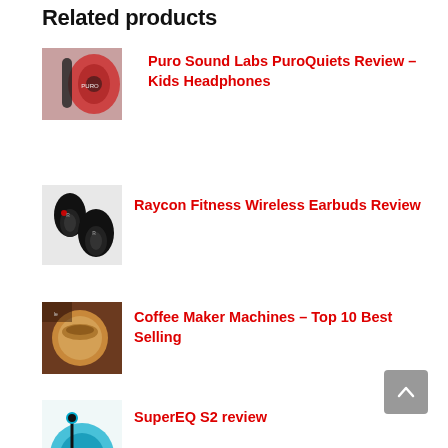Related products
[Figure (photo): Red headphones product photo - Puro Sound Labs PuroQuiets]
Puro Sound Labs PuroQuiets Review – Kids Headphones
[Figure (photo): Black wireless earbuds product photo - Raycon Fitness Wireless Earbuds]
Raycon Fitness Wireless Earbuds Review
[Figure (photo): Coffee cup product photo - Coffee Maker Machines]
Coffee Maker Machines – Top 10 Best Selling
[Figure (photo): Teal headphones product photo - SuperEQ S2]
SuperEQ S2 review